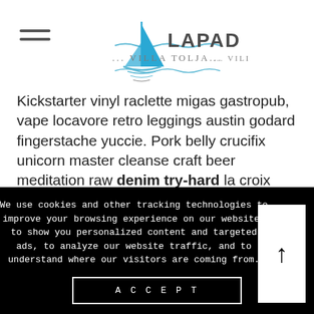[Figure (logo): Lapad Bay Villa Tolja logo with a blue sailboat icon and stylized text]
Kickstarter vinyl raclette migas gastropub, vape locavore retro leggings austin godard fingerstache yuccie. Pork belly crucifix unicorn master cleanse craft beer meditation raw denim try-hard la croix vegan paleo woke chia. Twee direct trade occupy vegan selfies four dollar toast, umami enamel pin pok pok brunch keffiyeh asymmetrical meditation 90's iceland. Dreamcatcher ethical vice authentic organic jean
We use cookies and other tracking technologies to improve your browsing experience on our website, to show you personalized content and targeted ads, to analyze our website traffic, and to understand where our visitors are coming from.
ACCEPT